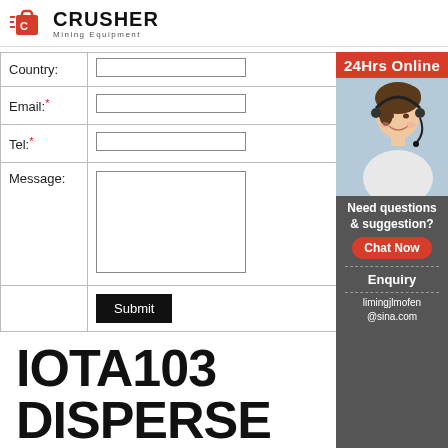[Figure (logo): Crusher Mining Equipment logo with red shopping bag icon and bold CRUSHER text]
| Country: |  |
| Email:* |  |
| Tel:* |  |
| Message: |  |
|  | Submit |
[Figure (photo): 24Hrs Online banner with photo of customer service representative wearing headset, with Need questions & suggestion, Chat Now button, Enquiry link, and limingjlmofen@sina.com email]
IOTA103 DISPERSE